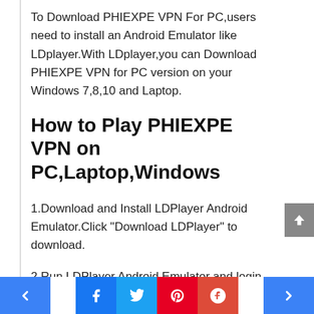To Download PHIEXPE VPN For PC,users need to install an Android Emulator like LDplayer.With LDplayer,you can Download PHIEXPE VPN for PC version on your Windows 7,8,10 and Laptop.
How to Play PHIEXPE VPN on PC,Laptop,Windows
1.Download and Install LDPlayer Android Emulator.Click "Download LDPlayer" to download.
2.Run LDPlayer Android Emulator and login Google Play Store.
3.Open Google Play Store and search PHIEXPE VPN and Download it.